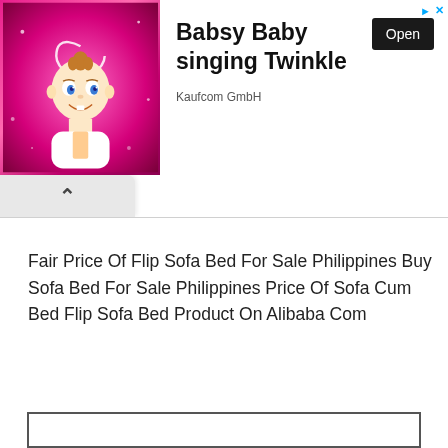[Figure (illustration): Advertisement banner with animated baby character on pink sparkly background. Text reads 'Babsy Baby singing Twinkle' with 'Kaufcom GmbH' and an 'Open' button. Small blue arrow and X icons in top right corner.]
Fair Price Of Flip Sofa Bed For Sale Philippines Buy Sofa Bed For Sale Philippines Price Of Sofa Cum Bed Flip Sofa Bed Product On Alibaba Com
[Figure (other): Partial bottom image box outline visible at bottom of page]